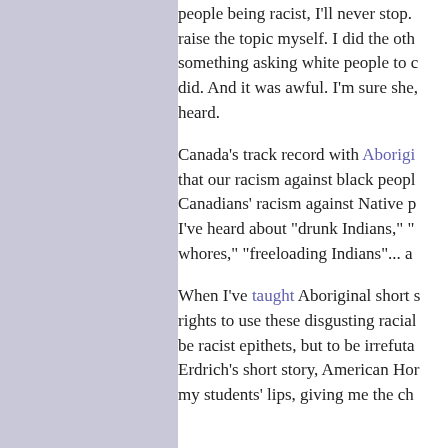people being racist, I'll never stop. raise the topic myself. I did the oth something asking white people to c did. And it was awful. I'm sure she, heard.
Canada's track record with Aboriginal that our racism against black peopl Canadians' racism against Native p I've heard about "drunk Indians," " whores," "freeloading Indians"... a
When I've taught Aboriginal short s rights to use these disgusting racial be racist epithets, but to be irrefuta Erdrich's short story, American Hor my students' lips, giving me the ch